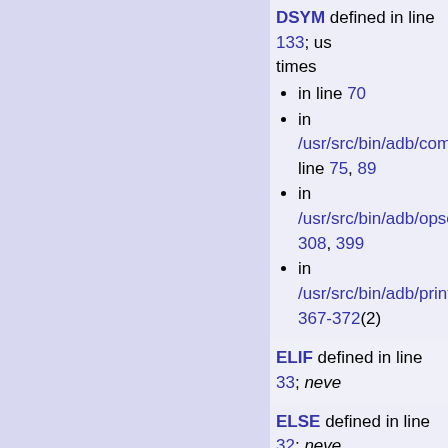DSYM defined in line 133; used times
  • in line 70
  • in /usr/src/bin/adb/comm line 75, 89
  • in /usr/src/bin/adb/opse 308, 399
  • in /usr/src/bin/adb/print 367-372(2)
ELIF defined in line 33; never
ELSE defined in line 32; neve
END defined in line 28; never
EOR defined in line 173; used times
  • in /usr/src/bin/adb/comm line 50, 152
  • in /usr/src/bin/adb/form line 179, 233
  • in /usr/src/bin/adb/input 7, 15, 33, 66
  • in /usr/src/bin/adb/main 133, 149
  • in /usr/src/bin/adb/...